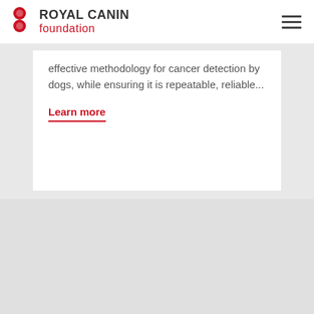ROYAL CANIN foundation
effective methodology for cancer detection by dogs, while ensuring it is repeatable, reliable...
Learn more